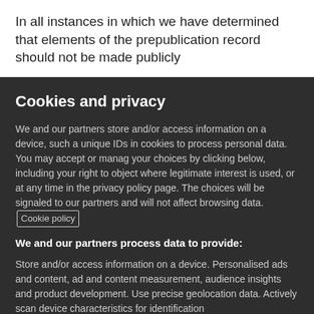In all instances in which we have determined that elements of the prepublication record should not be made publicly available, we assert that to the er will not the end in
Cookies and privacy
We and our partners store and/or access information on a device, such a unique IDs in cookies to process personal data. You may accept or manage your choices by clicking below, including your right to object where legitimate interest is used, or at any time in the privacy policy page. These choices will be signaled to our partners and will not affect browsing data. Cookie policy
We and our partners process data to provide:
Store and/or access information on a device. Personalised ads and content, ad and content measurement, audience insights and product development. Use precise geolocation data. Actively scan device characteristics for identification
List of Partners (vendors)
I Accept